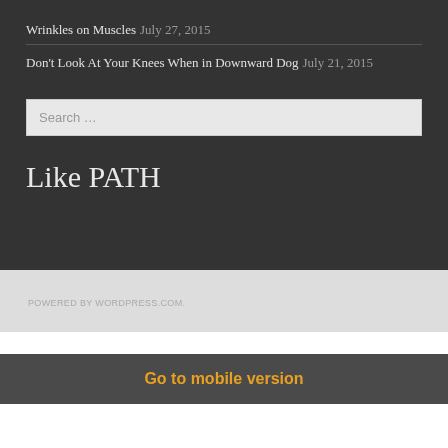Wrinkles on Muscles July 27, 2015
Don't Look At Your Knees When in Downward Dog July 21, 2015
Search …
Like PATH
POWERED BY WORDPRESS.COM.
Go to mobile version